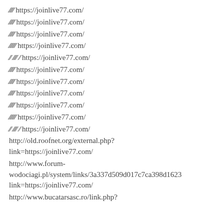####### https://joinlive77.com/
######## https://joinlive77.com/
######## https://joinlive77.com/
########## https://joinlive77.com/
### ###### ## https://joinlive77.com/
######## https://joinlive77.com/
######## https://joinlive77.com/
######## https://joinlive77.com/
######## https://joinlive77.com/
########## https://joinlive77.com/
### ###### ## https://joinlive77.com/
http://old.roofnet.org/external.php?link=https://joinlive77.com/
http://www.forum-wodociagi.pl/system/links/3a337d509d017c7ca398d1623link=https://joinlive77.com/
http://www.bucatarsasc.ro/link.php?